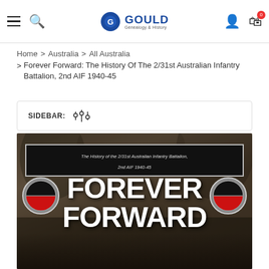Gould Genealogy & History — navigation bar with hamburger menu, search, logo, user account, and cart (0 items)
Home > Australia > All Australia > Forever Forward: The History Of The 2/31st Australian Infantry Battalion, 2nd AIF 1940-45
SIDEBAR: (filter/slider icon)
[Figure (photo): Book cover for 'Forever Forward: The History of the 2/31st Australian Infantry Battalion, 2nd AIF 1940-45'. Shows the title in large bold white text on a sepia-toned background of trees/jungle. Two round battalion badge medallions (black, red and grey) flank the title. A small subtitle banner at top reads the full title text. A soldier figure is partially visible at the bottom.]